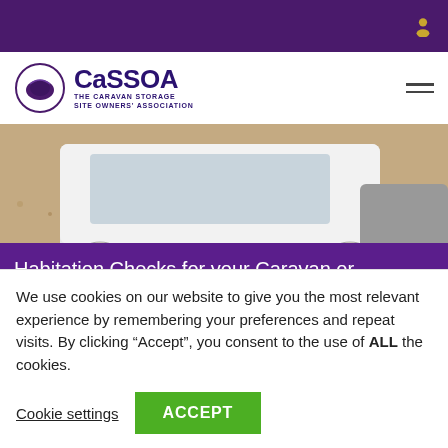CaSSSOA — The Caravan Storage Site Owners' Association
[Figure (photo): Photo of white van and cars parked on gravel/sandy surface, viewed from front-low angle]
Habitation Checks for your Caravan or...
CaSSSOA is proud to be working with HabCheck to provide habitation checks for your caravan or motorhome. A
We use cookies on our website to give you the most relevant experience by remembering your preferences and repeat visits. By clicking “Accept”, you consent to the use of ALL the cookies.
Cookie settings
ACCEPT